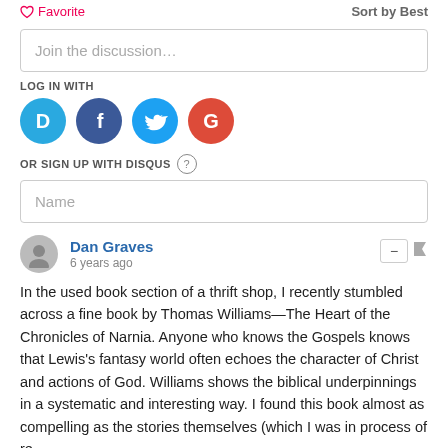Favorite
Sort by Best
Join the discussion…
LOG IN WITH
[Figure (logo): Social login icons: Disqus (blue), Facebook (dark blue), Twitter (light blue), Google (red)]
OR SIGN UP WITH DISQUS ?
Name
Dan Graves
6 years ago
In the used book section of a thrift shop, I recently stumbled across a fine book by Thomas Williams—The Heart of the Chronicles of Narnia. Anyone who knows the Gospels knows that Lewis's fantasy world often echoes the character of Christ and actions of God. Williams shows the biblical underpinnings in a systematic and interesting way. I found this book almost as compelling as the stories themselves (which I was in process of re-